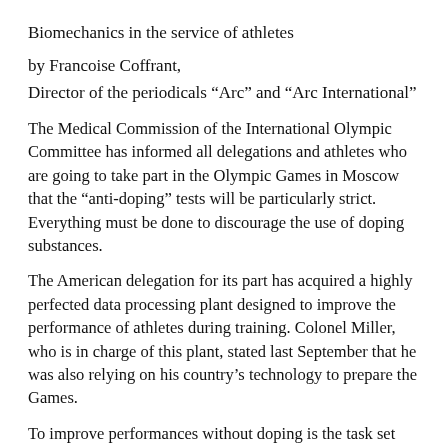Biomechanics in the service of athletes
by Francoise Coffrant,
Director of the periodicals “Arc” and “Arc International”
The Medical Commission of the International Olympic Committee has informed all delegations and athletes who are going to take part in the Olympic Games in Moscow that the “anti-doping” tests will be particularly strict. Everything must be done to discourage the use of doping substances.
The American delegation for its part has acquired a highly perfected data processing plant designed to improve the performance of athletes during training. Colonel Miller, who is in charge of this plant, stated last September that he was also relying on his country’s technology to prepare the Games.
To improve performances without doping is the task set himself by Gideon Ariel, a former athlete and now professor at the University of Massachusetts, who has been studying the human body with the help of